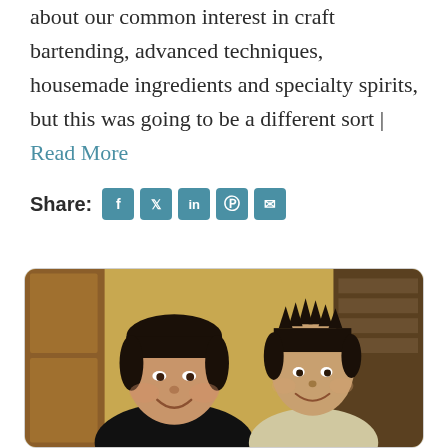about our common interest in craft bartending, advanced techniques, housemade ingredients and specialty spirits, but this was going to be a different sort | Read More
Share: [Facebook] [Twitter] [LinkedIn] [Pinterest] [Email]
[Figure (photo): Photo of two men smiling, taken indoors with a warm yellow/brown background. The man on the left has dark hair and is wearing a black shirt. The man on the right has spiky dark hair and is wearing a light-colored shirt.]